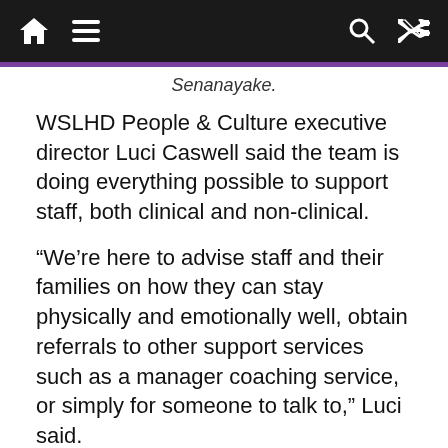Navigation bar with home, menu, search, and shuffle icons
Senanayake.
WSLHD People & Culture executive director Luci Caswell said the team is doing everything possible to support staff, both clinical and non-clinical.
“We’re here to advise staff and their families on how they can stay physically and emotionally well, obtain referrals to other support services such as a manager coaching service, or simply for someone to talk to,” Luci said.
“We want our staff to feel supported and ensure they have the right tools and